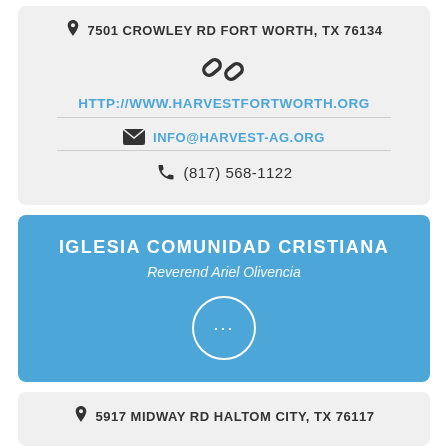7501 CROWLEY RD FORT WORTH, TX 76134
HTTP://WWW.HARVESTFORTWORTH.ORG
INFO@HARVEST-AG.ORG
(817) 568-1122
IGLESIA COMUNIDAD CRISTIANA
Reverend Ariel Olivencia
5917 MIDWAY RD HALTOM CITY, TX 76117